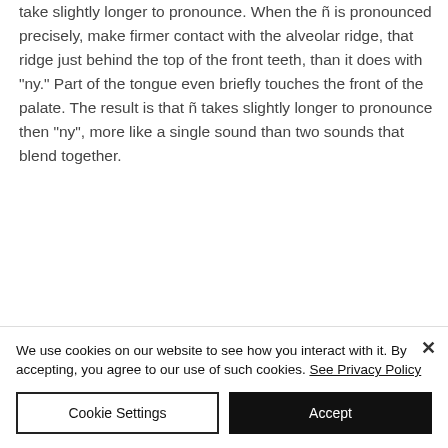take slightly longer to pronounce. When the ñ is pronounced precisely, make firmer contact with the alveolar ridge, that ridge just behind the top of the front teeth, than it does with "ny." Part of the tongue even briefly touches the front of the palate. The result is that ñ takes slightly longer to pronounce then "ny", more like a single sound than two sounds that blend together.
We use cookies on our website to see how you interact with it. By accepting, you agree to our use of such cookies. See Privacy Policy
Cookie Settings
Accept